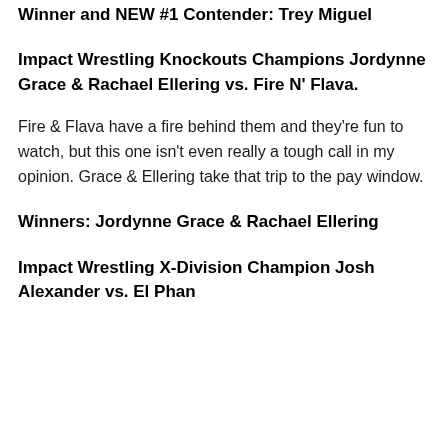Winner and NEW #1 Contender: Trey Miguel
Impact Wrestling Knockouts Champions Jordynne Grace & Rachael Ellering vs. Fire N' Flava.
Fire & Flava have a fire behind them and they're fun to watch, but this one isn't even really a tough call in my opinion. Grace & Ellering take that trip to the pay window.
Winners: Jordynne Grace & Rachael Ellering
Impact Wrestling X-Division Champion Josh Alexander vs. El Phantasmo